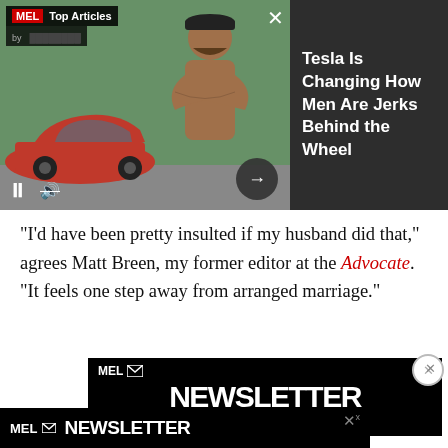[Figure (screenshot): MEL Top Articles video player showing a red Tesla car and a shirtless man with crossed arms, with play/pause and mute controls, arrow button, and X close button]
Tesla Is Changing How Men Are Jerks Behind the Wheel
“I’d have been pretty insulted if my husband did that,” agrees Matt Breen, my former editor at the Advocate. “It feels one step away from arranged marriage.”
[Figure (screenshot): MEL Newsletter advertisement banner with large white NEWSLETTER text on black background]
[Figure (screenshot): MEL Newsletter floating bottom bar advertisement on black background]